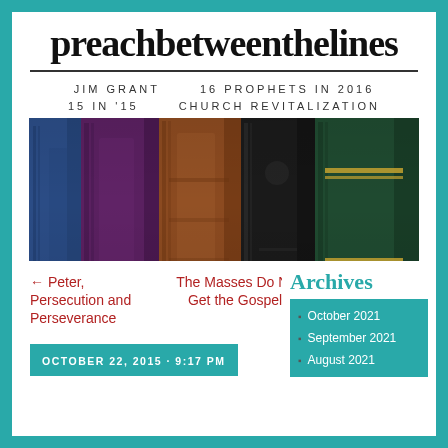preachbetweenthelines
JIM GRANT   16 PROPHETS IN 2016
15 IN '15   CHURCH REVITALIZATION
[Figure (photo): Row of old leather-bound books with spines showing: blue, purple, brown, dark/black, and green volumes]
← Peter, Persecution and Perseverance
The Masses Do Not Get the Gospel →
OCTOBER 22, 2015 · 9:17 PM
Archives
October 2021
September 2021
August 2021